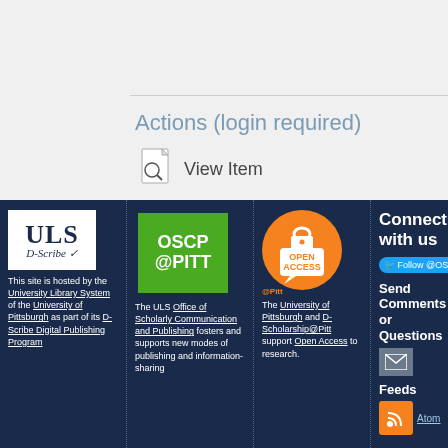Actions (login required)
View Item
[Figure (logo): ULS D-Scribe logo — white box with bold 'ULS' and italic 'D-Scribe' text]
This site is hosted by the University Library System of the University of Pittsburgh as part of its D-Scribe Digital Publishing Program
[Figure (logo): OSCP@PITT logo — green square with white bold text]
The ULS Office of Scholarly Communication and Publishing fosters and supports new modes of publishing and information-sharing
[Figure (logo): Open Access @Pitt logo — orange circle with white text and lock icon]
The University of Pittsburgh and D-Scholarship@Pitt support Open Access to research.
Connect with us
Follow @OSC
Send Comments or Questions
Feeds
Atom